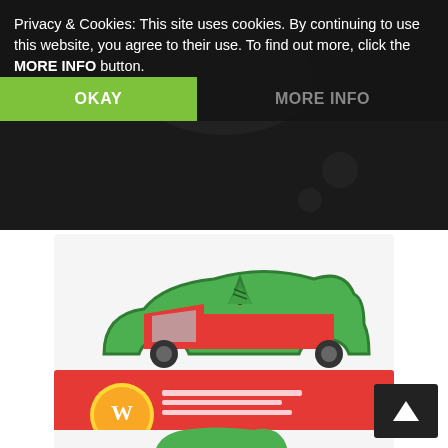Privacy & Cookies: This site uses cookies. By continuing to use this website, you agree to their use. To find out more, click the MORE INFO button.
OKAY
MORE INFO
[Figure (photo): Green cookie cutter shaped like a red truck carrying a Christmas tree]
Wilton COmfort Grip Truck with Tree Cookie Cutter
[Figure (screenshot): Buy from amazon.com button with golden/yellow background and Amazon logo]
[Figure (photo): Wilton Comfort Grip Cookie Cutter product in red retail packaging showing a green Christmas ornament or figure shaped cutter]
[Figure (other): Dark back-to-top button with upward arrow triangle icon in bottom right corner]